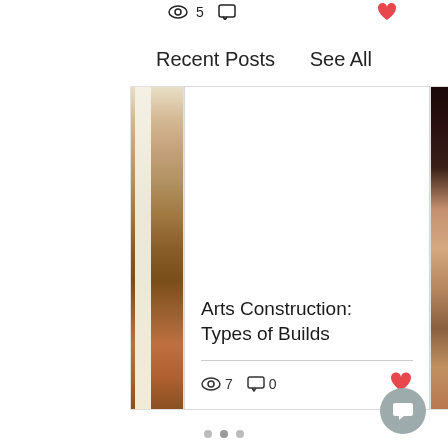[Figure (screenshot): Top bar with eye icon showing 5 views, comment icon, and a heart icon on the right]
Recent Posts
See All
[Figure (photo): Left partial card showing a partially visible photo of a white vertical structure with warm autumn decorations]
[Figure (screenshot): Center blog post card with blank white image area. Title: Arts Construction: Types of Builds. 7 views, 0 comments, heart (like) button.]
[Figure (photo): Right partial card showing a partially visible photo of a dark background with a pink/peach floral or organic shape]
[Figure (other): Pagination dots: three dots, middle one slightly darker indicating current position]
[Figure (other): Grey circular chat/message button in bottom right corner]